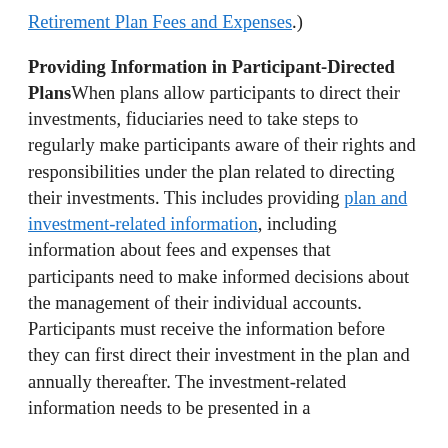(… Retirement Plan Fees and Expenses.)
Providing Information in Participant-Directed Plans When plans allow participants to direct their investments, fiduciaries need to take steps to regularly make participants aware of their rights and responsibilities under the plan related to directing their investments. This includes providing plan and investment-related information, including information about fees and expenses that participants need to make informed decisions about the management of their individual accounts. Participants must receive the information before they can first direct their investment in the plan and annually thereafter. The investment-related information needs to be presented in a